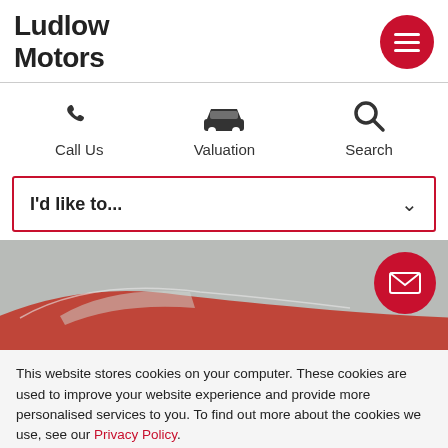Ludlow Motors
[Figure (screenshot): Mobile website navigation row with Call Us, Valuation, and Search icon buttons]
[Figure (screenshot): Dropdown selector with text 'I'd like to...' and a red border]
[Figure (photo): Red car roof partially visible against a grey background with a red mail button overlay]
This website stores cookies on your computer. These cookies are used to improve your website experience and provide more personalised services to you. To find out more about the cookies we use, see our Privacy Policy.
Accept